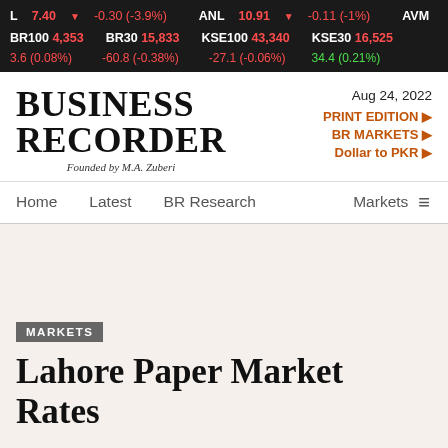L 7.40 ▼ -0.30 (-3.9%)   ANL 10.91 ▼ -0.11 (-1%)   AVN
BR100 4,353   BR30 15,833   KSE100 43,340   KSE30 16,525
3.6 (0.08%)   -60.8 (-0.38%)   -27.1 (-0.06%)   34.4 (0.21%)
BUSINESS RECORDER
Founded by M.A. Zuberi
Aug 24, 2022
PRINT EDITION ►
BR MARKETS ►
Dollar to PKR ►
Home   Latest   BR Research   Markets ≡
MARKETS
Lahore Paper Market Rates